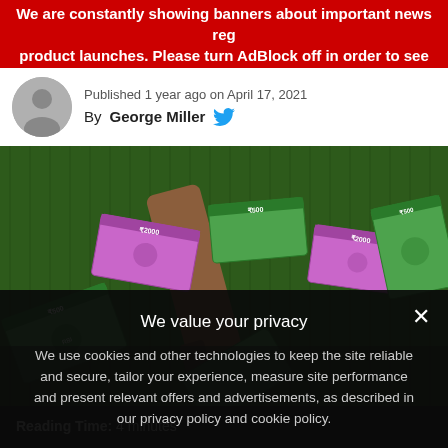We are constantly showing banners about important news reg product launches. Please turn AdBlock off in order to see
Published 1 year ago on April 17, 2021
By George Miller
[Figure (photo): Indian currency notes (rupees) flying around a cricket bat on green grass]
We value your privacy
We use cookies and other technologies to keep the site reliable and secure, tailor your experience, measure site performance and present relevant offers and advertisements, as described in our privacy policy and cookie policy.
› Privacy Preferences
I Agree
Reading Time: 4 minutes